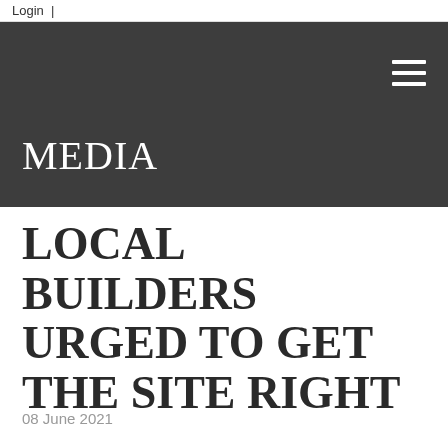Login  |
MEDIA
LOCAL BUILDERS URGED TO GET THE SITE RIGHT
08 June 2021